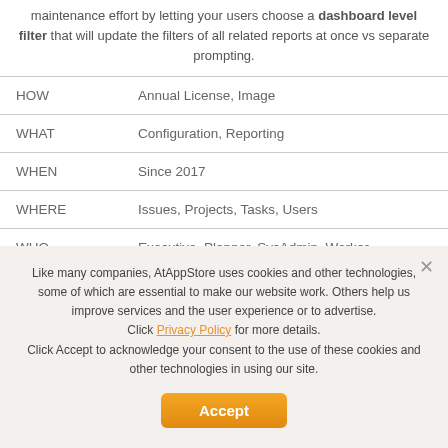maintenance effort by letting your users choose a dashboard level filter that will update the filters of all related reports at once vs separate prompting.
|  |  |
| --- | --- |
| HOW | Annual License, Image |
| WHAT | Configuration, Reporting |
| WHEN | Since 2017 |
| WHERE | Issues, Projects, Tasks, Users |
| WHO | Executive, Planner, SysAdmin, Worker |
Like many companies, AtAppStore uses cookies and other technologies, some of which are essential to make our website work. Others help us improve services and the user experience or to advertise. Click Privacy Policy for more details. Click Accept to acknowledge your consent to the use of these cookies and other technologies in using our site.